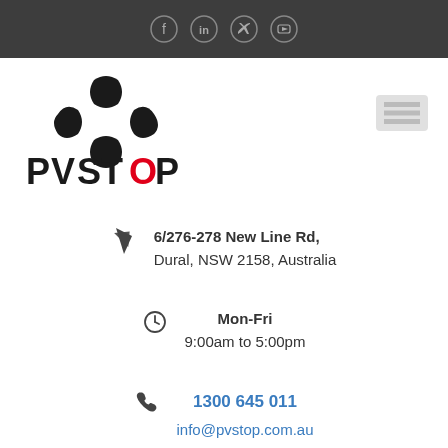Social media icons header bar (Facebook, LinkedIn, Twitter, YouTube)
[Figure (logo): PVSTOP logo — four black diamond/rounded square shapes arranged in a cross pattern above the text PVSTOP with a red diamond replacing the O]
[Figure (other): Hamburger menu icon (three horizontal lines) in light grey]
6/276-278 New Line Rd, Dural, NSW 2158, Australia
Mon-Fri
9:00am to 5:00pm
1300 645 011
info@pvstop.com.au